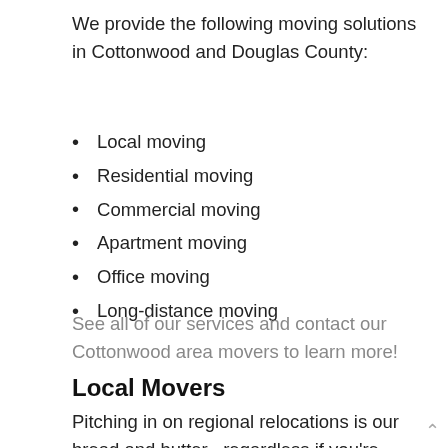We provide the following moving solutions in Cottonwood and Douglas County:
Local moving
Residential moving
Commercial moving
Apartment moving
Office moving
Long-distance moving
See all of our services and contact our Cottonwood area movers to learn more!
Local Movers
Pitching in on regional relocations is our bread and butter– regardless if you're moving across town or to another section of Colorado. We've